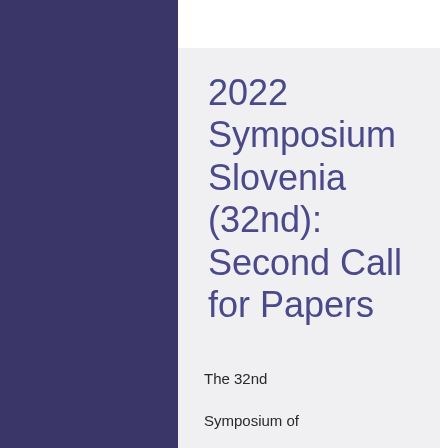2022 Symposium Slovenia (32nd): Second Call for Papers
The 32nd
Symposium of